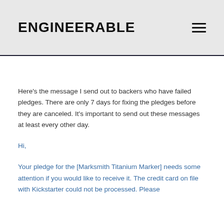ENGINEERABLE
Here's the message I send out to backers who have failed pledges. There are only 7 days for fixing the pledges before they are canceled. It's important to send out these messages at least every other day.
Hi,
Your pledge for the [Marksmith Titanium Marker] needs some attention if you would like to receive it. The credit card on file with Kickstarter could not be processed. Please